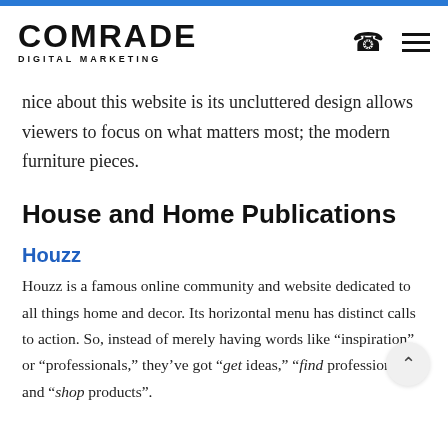COMRADE DIGITAL MARKETING
nice about this website is its uncluttered design allows viewers to focus on what matters most; the modern furniture pieces.
House and Home Publications
Houzz
Houzz is a famous online community and website dedicated to all things home and decor. Its horizontal menu has distinct calls to action. So, instead of merely having words like “inspiration” or “professionals,” they’ve got “get ideas,” “find professionals,” and “shop products”.